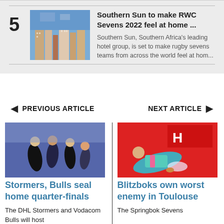5 — Southern Sun to make RWC Sevens 2022 feel at home ... — Southern Sun, Southern Africa's leading hotel group, is set to make rugby sevens teams from across the world feel at hom...
PREVIOUS ARTICLE
NEXT ARTICLE
[Figure (photo): Rugby players running during a match, black and blue jerseys]
Stormers, Bulls seal home quarter-finals
The DHL Stormers and Vodacom Bulls will host
[Figure (photo): Rugby sevens player scoring a try, diving on the ground in front of HSBC signage]
Blitzboks own worst enemy in Toulouse
The Springbok Sevens